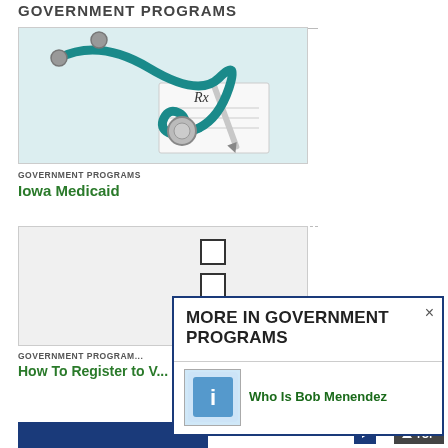GOVERNMENT PROGRAMS
[Figure (photo): Stethoscope coiled around a prescription pad with a pen, on white background]
GOVERNMENT PROGRAMS
Iowa Medicaid
[Figure (photo): Checklist with three empty checkboxes]
GOVERNMENT PROGRAM...
How To Register to V...
MORE IN GOVERNMENT PROGRAMS
Who Is Bob Menendez